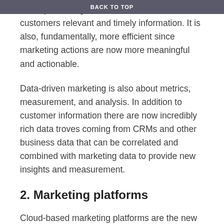BACK TO TOP
touch points to give their visitors, users, and customers relevant and timely information. It is also, fundamentally, more efficient since marketing actions are now more meaningful and actionable.
Data-driven marketing is also about metrics, measurement, and analysis. In addition to customer information there are now incredibly rich data troves coming from CRMs and other business data that can be correlated and combined with marketing data to provide new insights and measurement.
2. Marketing platforms
Cloud-based marketing platforms are the new management tool for today’s B2B marketer. There are hundreds of choices starting with established brands such as HubSpot, Marketo, Pardot, and Infusionsoft, to up-an-comers like Greenrope and Hatchbuck. These are